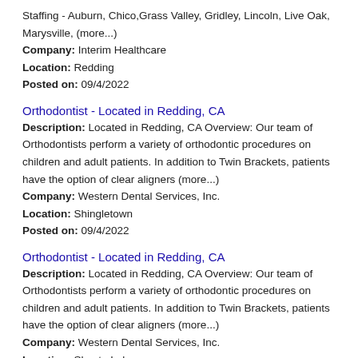Staffing - Auburn, Chico, Grass Valley, Gridley, Lincoln, Live Oak, Marysville, (more...)
Company: Interim Healthcare
Location: Redding
Posted on: 09/4/2022
Orthodontist - Located in Redding, CA
Description: Located in Redding, CA Overview: Our team of Orthodontists perform a variety of orthodontic procedures on children and adult patients. In addition to Twin Brackets, patients have the option of clear aligners (more...)
Company: Western Dental Services, Inc.
Location: Shingletown
Posted on: 09/4/2022
Orthodontist - Located in Redding, CA
Description: Located in Redding, CA Overview: Our team of Orthodontists perform a variety of orthodontic procedures on children and adult patients. In addition to Twin Brackets, patients have the option of clear aligners (more...)
Company: Western Dental Services, Inc.
Location: Shasta Lake
Posted on: 09/4/2022